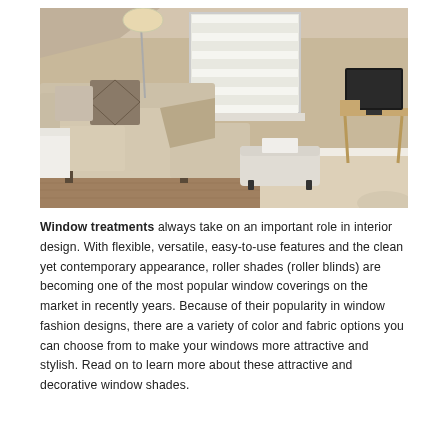[Figure (photo): Interior living room photo showing a beige/neutral-toned room with a sectional sofa with decorative pillows, a white ottoman, a floor lamp, a window with white horizontal blinds/roller shades, hardwood floor, white carpet area, and a small desk with a TV monitor on the right side.]
Window treatments always take on an important role in interior design. With flexible, versatile, easy-to-use features and the clean yet contemporary appearance, roller shades (roller blinds) are becoming one of the most popular window coverings on the market in recently years. Because of their popularity in window fashion designs, there are a variety of color and fabric options you can choose from to make your windows more attractive and stylish. Read on to learn more about these attractive and decorative window shades.